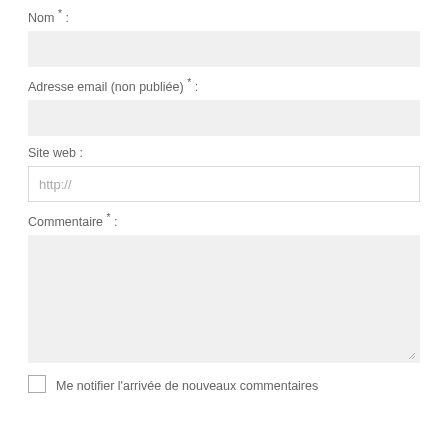Nom * :
[Figure (screenshot): Empty text input field with light grey background for Nom (Name)]
Adresse email (non publiée) * :
[Figure (screenshot): Empty text input field with light grey background for email address]
Site web :
[Figure (screenshot): Text input field with white background showing placeholder text 'http://']
Commentaire * :
[Figure (screenshot): Large textarea with light grey background and resize handle at bottom right]
Me notifier l'arrivée de nouveaux commentaires